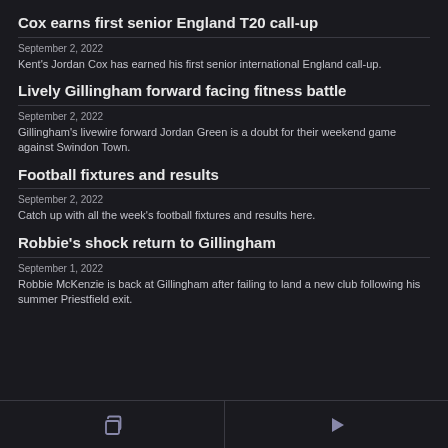Cox earns first senior England T20 call-up
September 2, 2022
Kent's Jordan Cox has earned his first senior international England call-up.
Lively Gillingham forward facing fitness battle
September 2, 2022
Gillingham's livewire forward Jordan Green is a doubt for their weekend game against Swindon Town.
Football fixtures and results
September 2, 2022
Catch up with all the week's football fixtures and results here.
Robbie's shock return to Gillingham
September 1, 2022
Robbie McKenzie is back at Gillingham after failing to land a new club following his summer Priestfield exit.
[copy icon] [play icon]